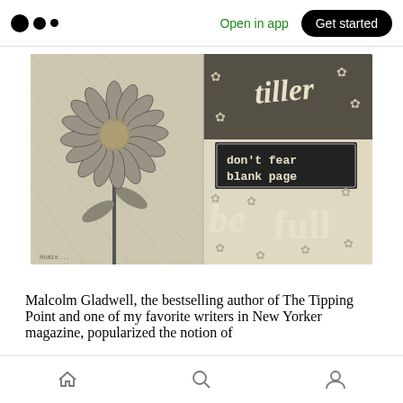Medium — Open in app  Get started
[Figure (illustration): A hand-drawn sketch spread across two journal pages. The left page shows a detailed sunflower illustration with intricate line work and dot patterns. The right page contains hand-lettered text reading 'tiller', 'don't fear blank page', and 'be full', decorated with small flower doodles, on a dark background with white lettering in a rectangular box for 'don't fear blank page'.]
Malcolm Gladwell, the bestselling author of The Tipping Point and one of my favorite writers in New Yorker magazine, popularized the notion of
Home  Search  Profile